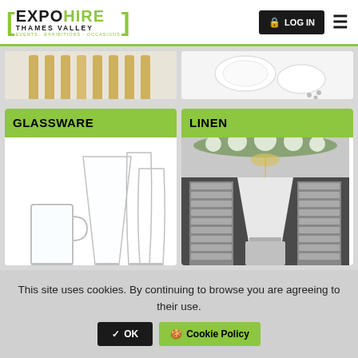[Figure (logo): Expo Hire Thames Valley logo with green brackets and tagline: EVENTS - EXHIBITIONS - OCCASIONS]
[Figure (other): LOG IN button (dark background) and hamburger menu icon in header]
[Figure (photo): Partial top image on left - cutlery/pencil-like items on light background]
[Figure (photo): Partial top image on right - white plates and small objects on white background]
[Figure (photo): GLASSWARE category card with image of beer glasses and mugs]
[Figure (photo): LINEN category card with image of elegant white event venue with floral ceiling decorations]
This site uses cookies. By continuing to browse you are agreeing to their use.
OK
Cookie Policy